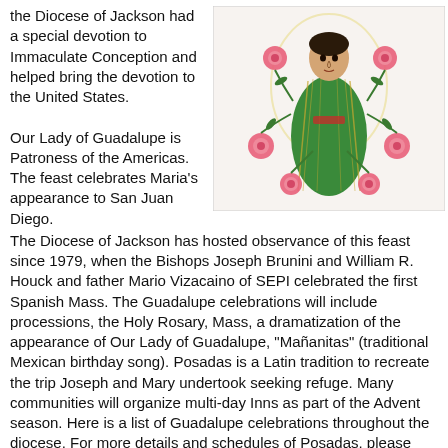the Diocese of Jackson had a special devotion to Immaculate Conception and helped bring the devotion to the United States.
[Figure (illustration): Illustration of Our Lady of Guadalupe with roses, showing a religious icon with a green-robed figure surrounded by pink roses on a light background]
Our Lady of Guadalupe is Patroness of the Americas. The feast celebrates Maria's appearance to San Juan Diego. The Diocese of Jackson has hosted observance of this feast since 1979, when the Bishops Joseph Brunini and William R. Houck and father Mario Vizacaino of SEPI celebrated the first Spanish Mass. The Guadalupe celebrations will include processions, the Holy Rosary, Mass, a dramatization of the appearance of Our Lady of Guadalupe, "Mañanitas" (traditional Mexican birthday song). Posadas is a Latin tradition to recreate the trip Joseph and Mary undertook seeking refuge. Many communities will organize multi-day Inns as part of the Advent season. Here is a list of Guadalupe celebrations throughout the diocese. For more details and schedules of Posadas, please contact your parish.
Amory, St. Helen –Thursday, Dec. 12
Canton, Sacred Heart – Sunday Dec. 15, 9:30 am
Carthage, St. Anne – Saturday, Dec. 14, 10 a.m.
Cleveland, Our Lady of Victories – Thursday, Dec. 12, 5:30 p.m.